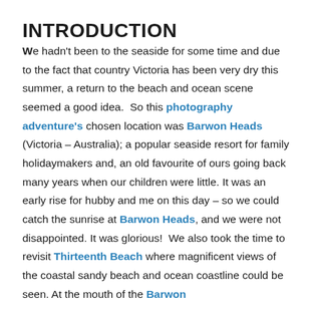INTRODUCTION
We hadn't been to the seaside for some time and due to the fact that country Victoria has been very dry this summer, a return to the beach and ocean scene seemed a good idea.  So this photography adventure's chosen location was Barwon Heads (Victoria – Australia); a popular seaside resort for family holidaymakers and, an old favourite of ours going back many years when our children were little. It was an early rise for hubby and me on this day – so we could catch the sunrise at Barwon Heads, and we were not disappointed. It was glorious!  We also took the time to revisit Thirteenth Beach where magnificent views of the coastal sandy beach and ocean coastline could be seen. At the mouth of the Barwon